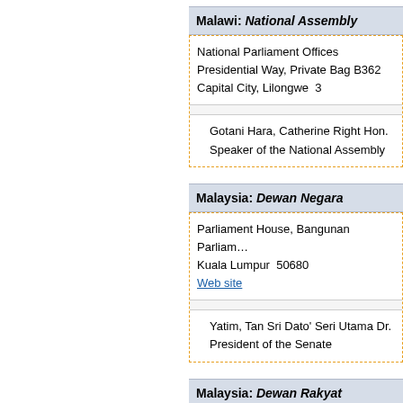Malawi: National Assembly
National Parliament Offices
Presidential Way, Private Bag B362
Capital City, Lilongwe  3
Gotani Hara, Catherine Right Hon.
Speaker of the National Assembly
Malaysia: Dewan Negara
Parliament House, Bangunan Parliament
Kuala Lumpur  50680
Web site
Yatim, Tan Sri Dato' Seri Utama Dr.
President of the Senate
Malaysia: Dewan Rakyat